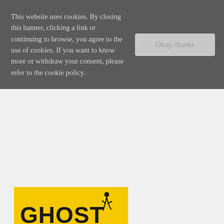This website uses cookies. By closing this banner, clicking a link or continuing to browse, you agree to the use of cookies. If you want to know more or withdraw your consent, please refer to the cookie policy.
[Figure (other): Okay, thanks button - a light gray rectangular button with muted gray text]
[Figure (illustration): Two book covers stacked: top is 'Ghost' with yellow background showing a running figure, bottom is 'brown girl dreaming' by Jacqueline Woodson with a silhouette of a girl against a sunset sky and multiple award medals]